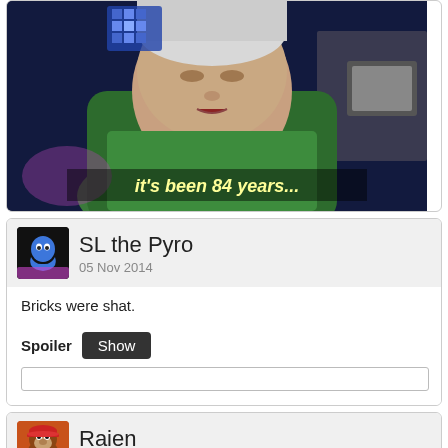[Figure (photo): Meme image of an elderly woman looking down with text 'it's been 84 years...' overlaid on the lower portion. Dark blue tinted background.]
SL the Pyro
05 Nov 2014
Bricks were shat.
Spoiler Show
Raien
05 Nov 2014
And it's just been confirmed that Europe is getting a Special Edition box containing a steelbook, poster and pin badge.